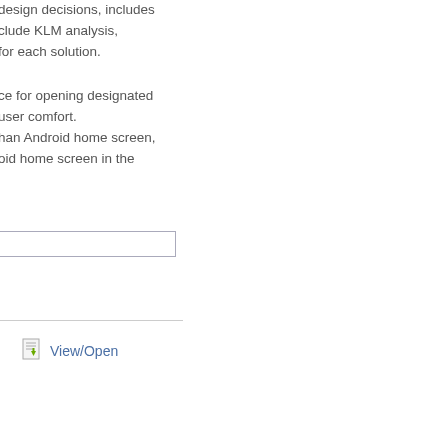design decisions, includes
clude KLM analysis,
for each solution.
ce for opening designated
user comfort.
han Android home screen,
oid home screen in the
[Figure (other): Input text box with border]
[Figure (other): View/Open link with document icon]
View/Open